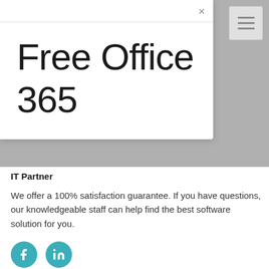[Figure (screenshot): Modal dialog with close (×) button in top-right corner of modal, and hamburger menu icon in top-right corner of page background]
Free Office 365
IT Partner
We offer a 100% satisfaction guarantee. If you have questions, our knowledgeable staff can help find the best software solution for you.
[Figure (illustration): Two teal circular social media icons: Facebook (f) and LinkedIn (in)]